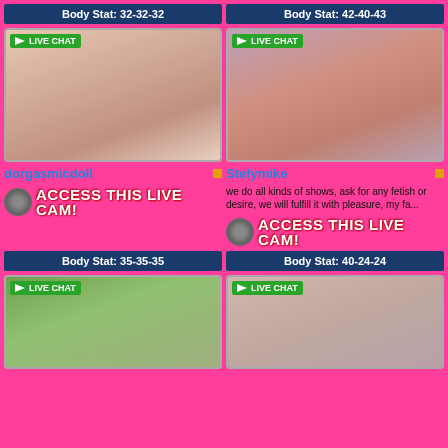Body Stat: 32-32-32
[Figure (photo): Live chat cam profile photo for dorgasmicdoll]
dorgasmicdoll
ACCESS THIS LIVE CAM!
Body Stat: 42-40-43
[Figure (photo): Live chat cam profile photo for Stefymike]
Stefymike
we do all kinds of shows, ask for any fetish or desire, we will fulfill it with pleasure, my fa...
ACCESS THIS LIVE CAM!
Body Stat: 35-35-35
[Figure (photo): Live chat cam profile photo, couple near waterfall]
Body Stat: 40-24-24
[Figure (photo): Live chat cam profile photo, woman with dark hair]